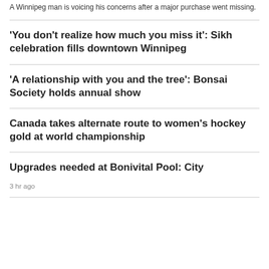A Winnipeg man is voicing his concerns after a major purchase went missing.
'You don't realize how much you miss it': Sikh celebration fills downtown Winnipeg
'A relationship with you and the tree': Bonsai Society holds annual show
Canada takes alternate route to women's hockey gold at world championship
Upgrades needed at Bonivital Pool: City
3 hr ago